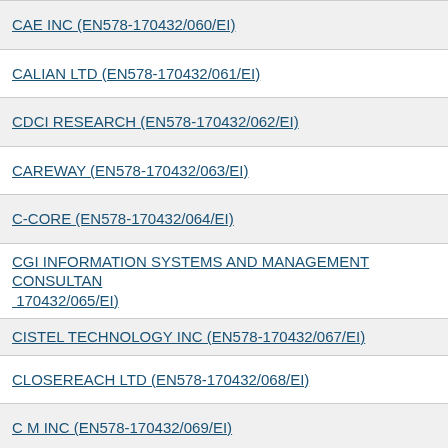CAE INC (EN578-170432/060/EI)
CALIAN LTD (EN578-170432/061/EI)
CDCI RESEARCH (EN578-170432/062/EI)
CAREWAY (EN578-170432/063/EI)
C-CORE (EN578-170432/064/EI)
CGI INFORMATION SYSTEMS AND MANAGEMENT CONSULTANTS INC (EN578-170432/065/EI)
CISTEL TECHNOLOGY INC (EN578-170432/067/EI)
CLOSEREACH LTD (EN578-170432/068/EI)
C M INC (EN578-170432/069/EI)